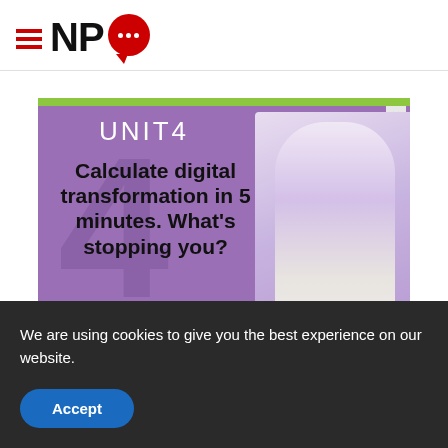[Figure (logo): NPQ logo with hamburger menu icon (three red horizontal lines), bold text 'NPQ', and a red speech bubble with three white dots]
[Figure (illustration): UNIT4 advertisement with purple background, green top bar, decorative large '4' in background, text 'Calculate digital transformation in 5 minutes. What's stopping you?', a 'Do it' button, and a woman flexing her arm]
We are using cookies to give you the best experience on our website.
Accept